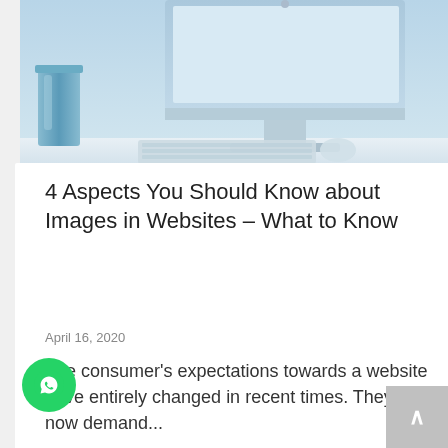[Figure (photo): Top portion of a desktop computer (iMac) with keyboard and mouse on a desk surface, with a blue cup/container on the left side. Light blue/white color scheme.]
4 Aspects You Should Know about Images in Websites – What to Know
April 16, 2020
The consumer's expectations towards a website have entirely changed in recent times. They now demand...